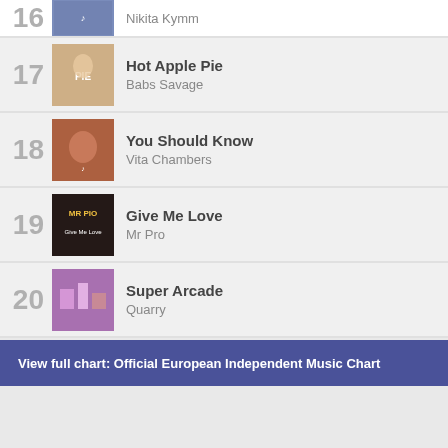16 Nikita Kymm
17 Hot Apple Pie — Babs Savage
18 You Should Know — Vita Chambers
19 Give Me Love — Mr Pro
20 Super Arcade — Quarry
View full chart: Official European Independent Music Chart